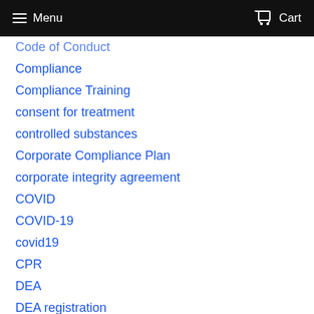Menu   Cart
Code of Conduct
Compliance
Compliance Training
consent for treatment
controlled substances
Corporate Compliance Plan
corporate integrity agreement
COVID
COVID-19
covid19
CPR
DEA
DEA registration
Dental Board
dental compliance